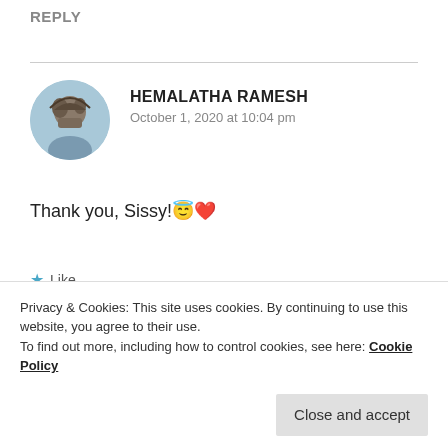REPLY
HEMALATHA RAMESH
October 1, 2020 at 10:04 pm
Thank you, Sissy!😇❤
★ Like
REPLY
Privacy & Cookies: This site uses cookies. By continuing to use this website, you agree to their use.
To find out more, including how to control cookies, see here: Cookie Policy
Close and accept